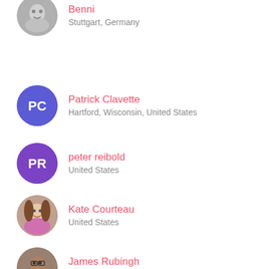Benni
Stuttgart, Germany
Patrick Clavette
Hartford, Wisconsin, United States
peter reibold
United States
Kate Courteau
United States
James Rubingh
Tokyo, Japan
Daniel Hammarberg
Gothenburg, Sweden